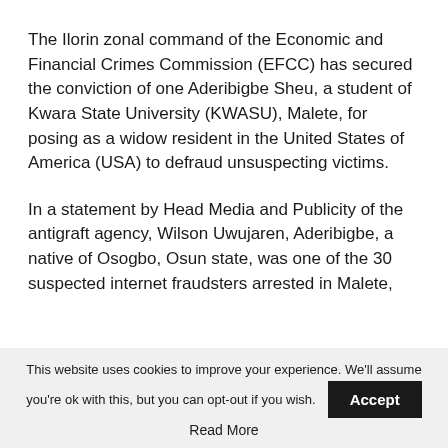The Ilorin zonal command of the Economic and Financial Crimes Commission (EFCC) has secured the conviction of one Aderibigbe Sheu, a student of Kwara State University (KWASU), Malete, for posing as a widow resident in the United States of America (USA) to defraud unsuspecting victims.
In a statement by Head Media and Publicity of the antigraft agency, Wilson Uwujaren, Aderibigbe, a native of Osogbo, Osun state, was one of the 30 suspected internet fraudsters arrested in Malete,
This website uses cookies to improve your experience. We'll assume you're ok with this, but you can opt-out if you wish. Accept Read More